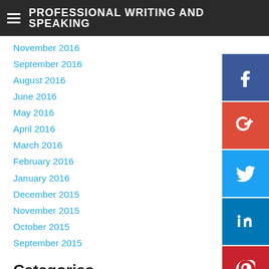PROFESSIONAL WRITING AND SPEAKING
November 2016
September 2016
August 2016
June 2016
May 2016
April 2016
March 2016
February 2016
January 2016
December 2015
November 2015
October 2015
September 2015
Categories
All